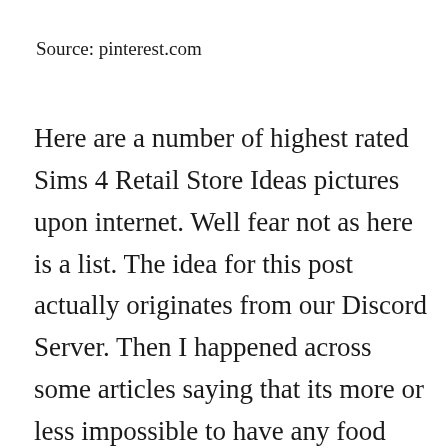Source: pinterest.com
Here are a number of highest rated Sims 4 Retail Store Ideas pictures upon internet. Well fear not as here is a list. The idea for this post actually originates from our Discord Server. Then I happened across some articles saying that its more or less impossible to have any food related retail business because nobody actually sits down to eat your food like its a real restaurant.